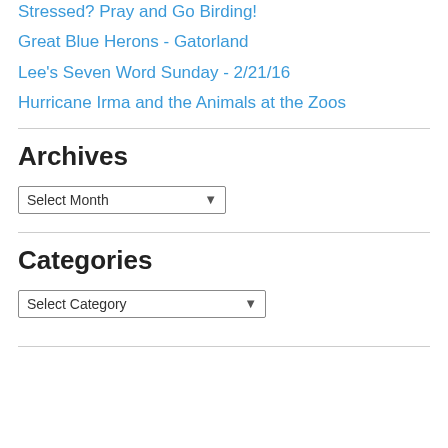Stressed? Pray and Go Birding!
Great Blue Herons - Gatorland
Lee's Seven Word Sunday - 2/21/16
Hurricane Irma and the Animals at the Zoos
Archives
Select Month (dropdown)
Categories
Select Category (dropdown)